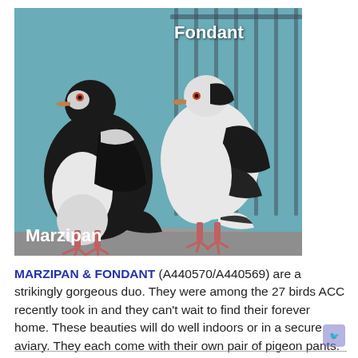[Figure (photo): Two black-and-white pigeons in a cage with teal/blue bars. The left bird (Marzipan) is labeled at the bottom-left in white bold text. The right bird (Fondant) is labeled at the top-right in white bold text. Both birds are standing on a grey surface.]
MARZIPAN & FONDANT (A440570/A440569) are a strikingly gorgeous duo. They were among the 27 birds ACC recently took in and they can't wait to find their forever home. These beauties will do well indoors or in a secure aviary. They each come with their own pair of pigeon pants.